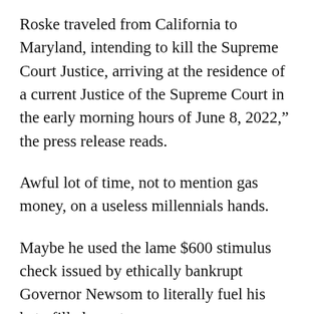Roske traveled from California to Maryland, intending to kill the Supreme Court Justice, arriving at the residence of a current Justice of the Supreme Court in the early morning hours of June 8, 2022,” the press release reads.
Awful lot of time, not to mention gas money, on a useless millennials hands.
Maybe he used the lame $600 stimulus check issued by ethically bankrupt Governor Newsom to literally fuel his hate-filled quest.
To be fair, however, Newsom is hardly the only despicable Democrat associated with this case